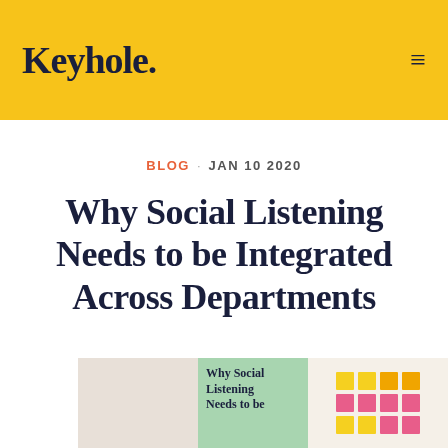Keyhole.
BLOG · JAN 10 2020
Why Social Listening Needs to be Integrated Across Departments
[Figure (photo): Photo of a whiteboard/wall with sticky notes. An overlay green card reads 'Why Social Listening Needs to be' with colorful sticky note grid visible to the right.]